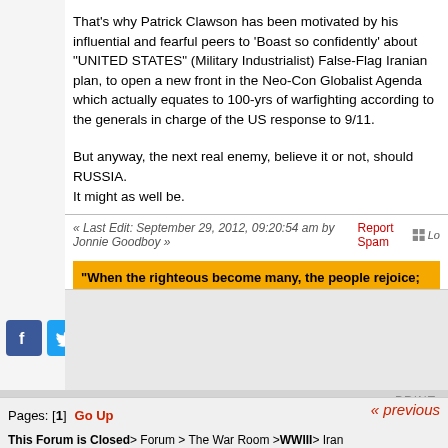That's why Patrick Clawson has been motivated by his influential and fearful peers to 'Boast so confidently' about "UNITED STATES" (Military Industrialist) False-Flag Iranian plan, to open a new front in the Neo-Con Globalist Agenda which actually equates to 100-yrs of warfighting according to the generals in charge of the US response to 9/11.
But anyway, the next real enemy, believe it or not, should RUSSIA.
It might as well be.
« Last Edit: September 29, 2012, 09:20:54 am by Jonnie Goodboy »
Report Spam
"When the righteous become many, the people rejoice; but when anyone wicked bears rule, the people sigh".
— Prov 29:2
Pages: [1]   Go Up
This Forum is Closed > Forum > The War Room > WWIII > Iran